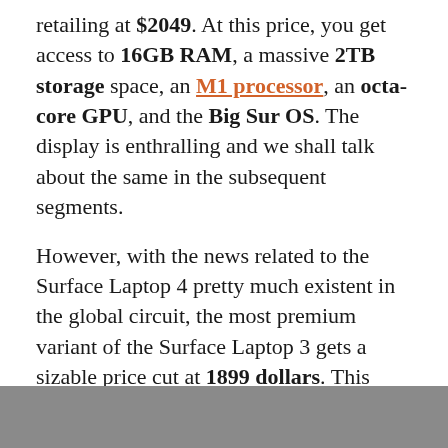retailing at $2049. At this price, you get access to 16GB RAM, a massive 2TB storage space, an M1 processor, an octa-core GPU, and the Big Sur OS. The display is enthralling and we shall talk about the same in the subsequent segments.
However, with the news related to the Surface Laptop 4 pretty much existent in the global circuit, the most premium variant of the Surface Laptop 3 gets a sizable price cut at 1899 dollars. This model offers 16GB RAM, 10th gen i7 chipset, 1TB SSD, and other functional specs owing to the touch-based support.
[Figure (photo): Gray bar/image placeholder at the bottom of the page]